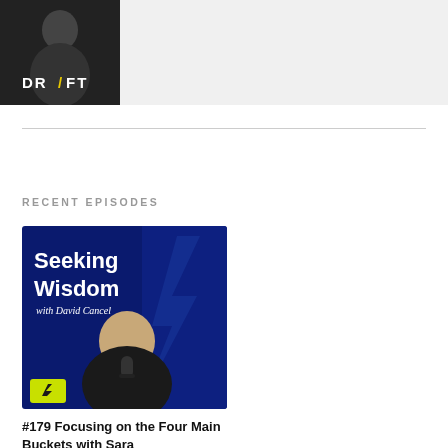[Figure (photo): Person wearing a black DRIFT t-shirt, photo used as top banner image on podcast page]
RECENT EPISODES
[Figure (photo): Seeking Wisdom with David Cancel podcast cover art — blue background with a bald man holding a microphone, yellow lightning bolt logo in bottom left corner]
#179 Focusing on the Four Main Buckets with Sara